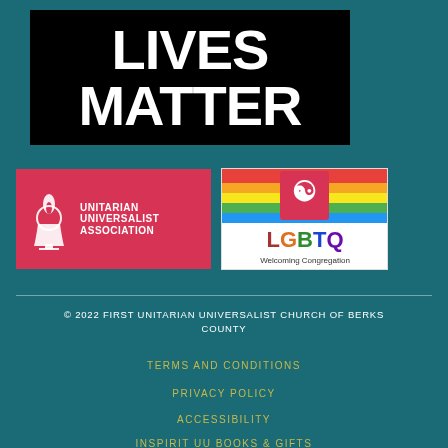[Figure (logo): Black Lives Matter banner: black background with white bold text 'LIVES MATTER']
[Figure (logo): Unitarian Universalist Association logo: red background with white chalice flame icon and text 'UNITARIAN UNIVERSALIST ASSOCIATION']
[Figure (logo): LGBTQ Welcoming Congregation logo: white background with rainbow stripes, UU chalice icon, and text 'LGBTQ Welcoming Congregation']
© 2022 FIRST UNITARIAN UNIVERSALIST CHURCH OF BERKS COUNTY
TERMS AND CONDITIONS
PRIVACY POLICY
ACCESSIBILITY
INSPIRIT UU BOOKS & GIFTS